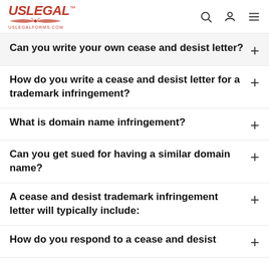USLegal™ uslegalforms.com
Can you write your own cease and desist letter?
How do you write a cease and desist letter for a trademark infringement?
What is domain name infringement?
Can you get sued for having a similar domain name?
A cease and desist trademark infringement letter will typically include:
How do you respond to a cease and desist